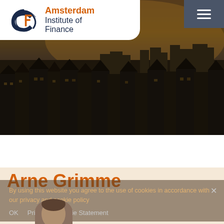[Figure (logo): Amsterdam Institute of Finance logo with circular C/F monogram in dark navy and orange text]
[Figure (photo): Aerial panoramic photo of Amsterdam city skyline at dusk/golden hour, showing rows of historic Dutch buildings and rooftops under an orange-tinted sky]
Arne Grimme
By using this website you agree to the use of cookies in accordance with our privacy and cookie policy
OK   Privacy & Cookie Statement